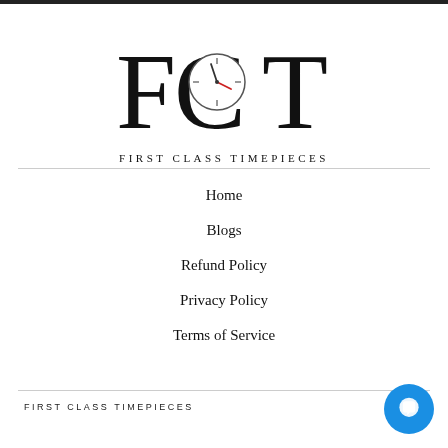[Figure (logo): FCT First Class Timepieces logo with large serif letters F, C, T and a clock face integrated into the O/C letter, with red and dark clock hands. Below: 'FIRST CLASS TIMEPIECES' in spaced serif capitals.]
Home
Blogs
Refund Policy
Privacy Policy
Terms of Service
FIRST CLASS TIMEPIECES